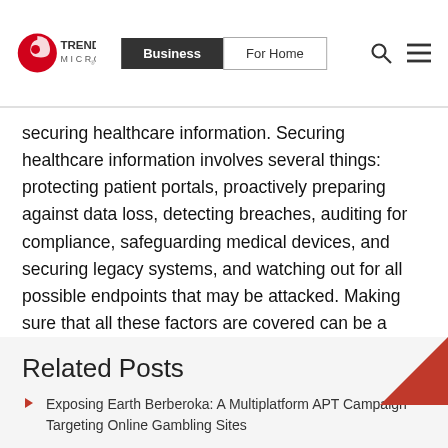Trend Micro | Business | For Home
securing healthcare information. Securing healthcare information involves several things: protecting patient portals, proactively preparing against data loss, detecting breaches, auditing for compliance, safeguarding medical devices, and securing legacy systems, and watching out for all possible endpoints that may be attacked. Making sure that all these factors are covered can be a challenge, but it is necessary when considering what's at stake.
Posted in Cyber Attacks, Data Breach, Targeted Attacks
Related Posts
Exposing Earth Berberoka: A Multiplatform APT Campaign Targeting Online Gambling Sites